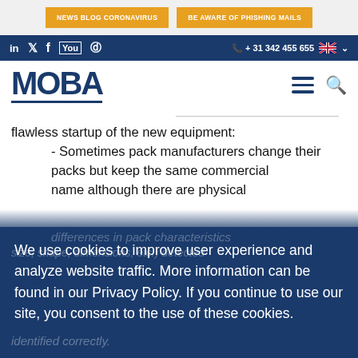NEWS BLOG CORONAVIRUS | BE AWARE OF PHISHING MAILS
in  twitter  f  You  instagram  |  + 31 342 455 655  UK flag
MOBA
flawless startup of the new equipment:
- Sometimes pack manufacturers change their packs but keep the same commercial name although there are physical
We use cookies to improve user experience and analyze website traffic. More information can be found in our Privacy Policy. If you continue to use our site, you consent to the use of these cookies.
identified correctly.
The Moba-ID (a unique code we apply for
f  twitter  whatsapp  in